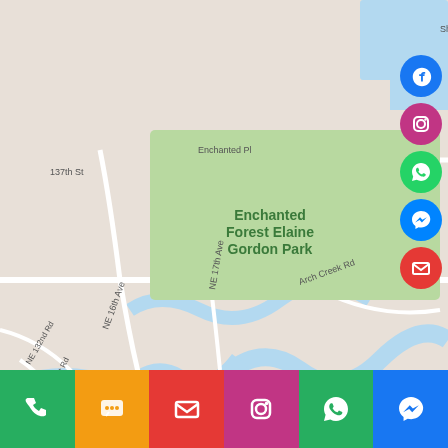[Figure (map): Google Maps view showing Biscayne Blvd area in North Miami/Miami-Dade, with a location pin at approximately NE 135th St and Biscayne Blvd. Shows Enchanted Forest Elaine Gordon Park, NE 137th St, NE 135th Ln, Arch Creek Rd, Emerald Dr, Ixora Rd, NE 132nd Rd, NE 131st Rd, NE 16th Ave, NE 17th Ave, Little Arch Creek, Arch Creek Dr, Keystone Islands, and Bayview area. Social media buttons (Facebook, Instagram, WhatsApp, Messenger, Email) overlaid on the right side.]
[Figure (infographic): Bottom bar with 6 contact/social media icon buttons: phone (green), SMS/chat (orange), email (red), Instagram (magenta), WhatsApp (green), Messenger (blue)]